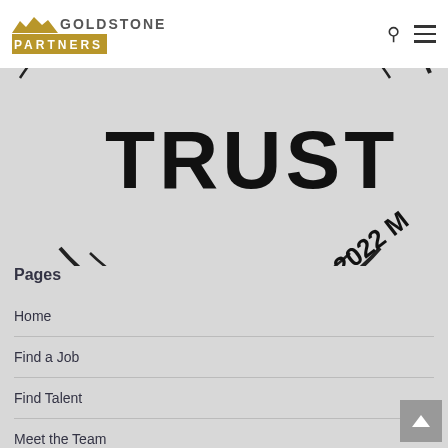[Figure (logo): Goldstone Partners logo with mountain silhouette in gold, text GOLDSTONE in gray and PARTNERS in white on gold bar]
[Figure (other): Circular stamp/badge partially visible showing the word TRUST in large bold text and '2022 M' on the right side, on a gray background]
Pages
Home
Find a Job
Find Talent
Meet the Team